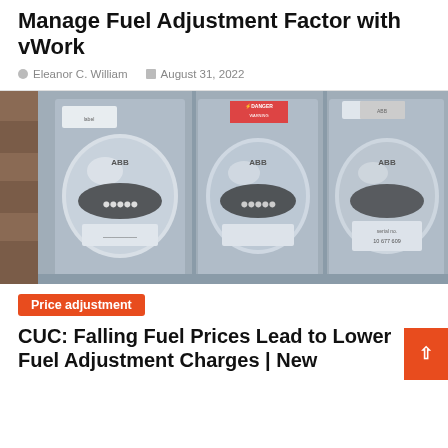Manage Fuel Adjustment Factor with vWork
Eleanor C. William   August 31, 2022
[Figure (photo): Three ABB electric utility meters mounted side by side on a gray panel, with a danger warning sticker visible on the center meter.]
Price adjustment
CUC: Falling Fuel Prices Lead to Lower Fuel Adjustment Charges | New